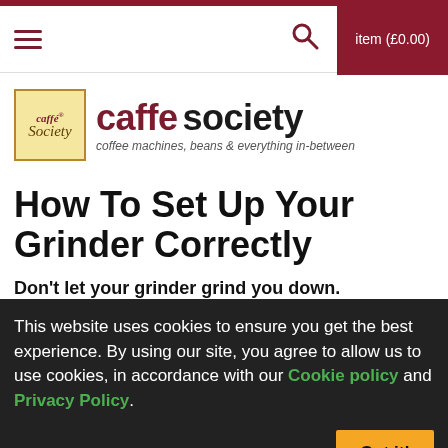item (£0.00)
[Figure (logo): Caffe Society logo with yellow box containing 'caffé Society' script and red text 'caffe society' with tagline 'coffee machines, beans & everything in-between']
How To Set Up Your Grinder Correctly
Don't let your grinder grind you down.
This website uses cookies to ensure you get the best experience. By using our site, you agree to allow us to use cookies, in accordance with our Cookie policy and Privacy Policy.